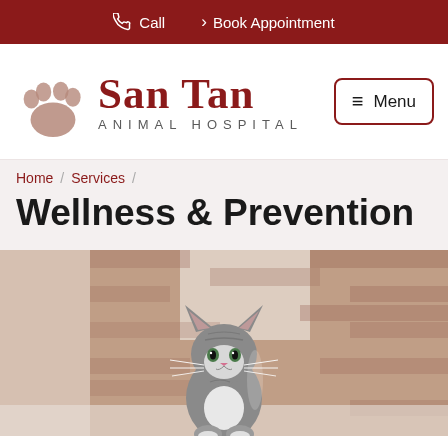Call   Book Appointment
[Figure (logo): San Tan Animal Hospital logo with paw print icon]
≡ Menu
Home / Services /
Wellness & Prevention
[Figure (photo): A small gray and white kitten sitting and looking at the camera, with a blurred brick wall background]